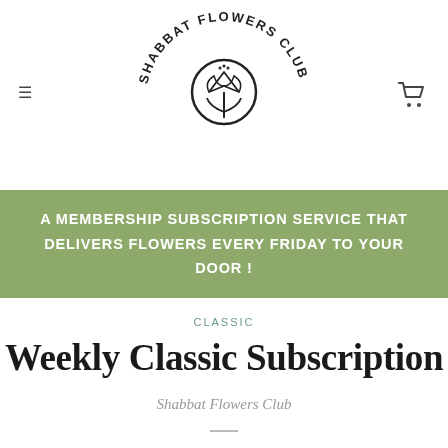[Figure (logo): Shabbat Flowers Club circular logo with tulip illustration in the center and text around the circle reading SHABBAT FLOWERS CLUB]
A MEMBERSHIP SUBSCRIPTION SERVICE THAT DELIVERS FLOWERS EVERY FRIDAY TO YOUR DOOR !
CLASSIC
Weekly Classic Subscription
Shabbat Flowers Club